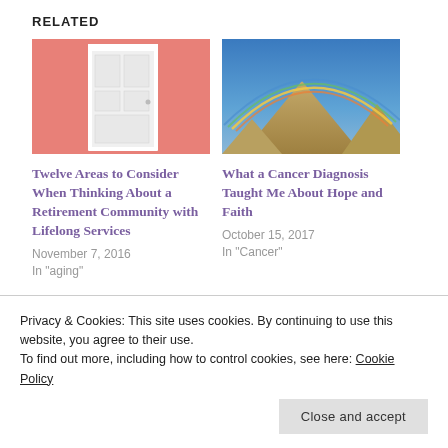RELATED
[Figure (photo): Photo of a white door on a salmon/pink wall]
Twelve Areas to Consider When Thinking About a Retirement Community with Lifelong Services
November 7, 2016
In "aging"
[Figure (photo): Photo of a mountain with a rainbow arc over a blue sky]
What a Cancer Diagnosis Taught Me About Hope and Faith
October 15, 2017
In "Cancer"
[Figure (photo): Photo of a smiling woman with dark hair, partial view]
Privacy & Cookies: This site uses cookies. By continuing to use this website, you agree to their use.
To find out more, including how to control cookies, see here: Cookie Policy
Close and accept
In "aging"